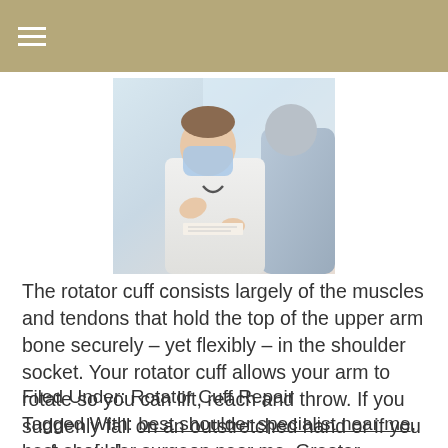≡
[Figure (photo): A doctor wearing a face mask and white coat gesturing while speaking to a patient whose back is to the camera, in a medical office setting.]
The rotator cuff consists largely of the muscles and tendons that hold the top of the upper arm bone securely – yet flexibly – in the shoulder socket. Your rotator cuff allows your arm to rotate so you can lift, reach and throw. If you suddenly fall on an outstretched hand or if you perform [...]
Filed Under: Rotator Cuff Repair
Tagged With: best shoulder specialist near me, best shoulder surgeon near me, Greater